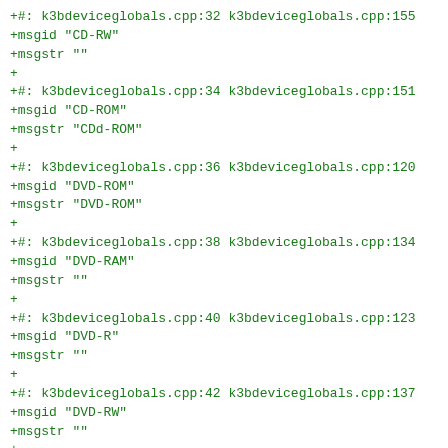+#: k3bdeviceglobals.cpp:32 k3bdeviceglobals.cpp:155
+msgid "CD-RW"
+msgstr ""
+
+#: k3bdeviceglobals.cpp:34 k3bdeviceglobals.cpp:151
+msgid "CD-ROM"
+msgstr "CDd-ROM"
+
+#: k3bdeviceglobals.cpp:36 k3bdeviceglobals.cpp:120
+msgid "DVD-ROM"
+msgstr "DVD-ROM"
+
+#: k3bdeviceglobals.cpp:38 k3bdeviceglobals.cpp:134
+msgid "DVD-RAM"
+msgstr ""
+
+#: k3bdeviceglobals.cpp:40 k3bdeviceglobals.cpp:123
+msgid "DVD-R"
+msgstr ""
+
+#: k3bdeviceglobals.cpp:42 k3bdeviceglobals.cpp:137
+msgid "DVD-RW"
+msgstr ""
+
+#: k3bdeviceglobals.cpp:44
+msgid "DVD-R DL"
+msgstr ""
+
+#: k3bdeviceglobals.cpp:46 k3bdeviceglobals.cpp:157
+#, fuzzy